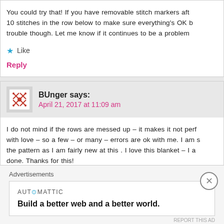You could try that! If you have removable stitch markers aft 10 stitches in the row below to make sure everything's OK b trouble though. Let me know if it continues to be a problem
Like
Reply
BUnger says:
April 21, 2017 at 11:09 am
I do not mind if the rows are messed up – it makes it not perf with love – so a few – or many – errors are ok with me. I am s the pattern as I am fairly new at this . I love this blanket – I a done. Thanks for this!
Like
Reply
[Figure (infographic): Automattic advertisement: AUTOMATTIC logo and tagline 'Build a better web and a better world.']